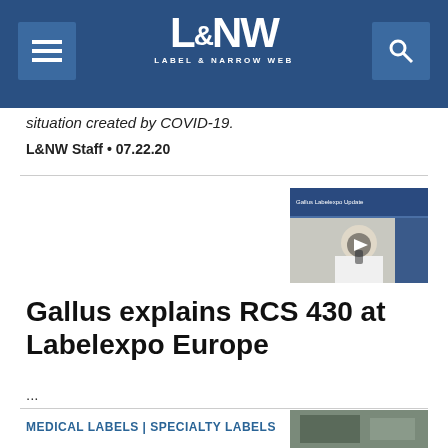L&NW Label & Narrow Web
situation created by COVID-19.
L&NW Staff • 07.22.20
[Figure (screenshot): Video thumbnail showing a man in a white shirt speaking, with industrial equipment in the background. A play button overlay is visible.]
Gallus explains RCS 430 at Labelexpo Europe
...
MEDICAL LABELS | SPECIALTY LABELS
[Figure (photo): Partial thumbnail image at bottom right of page.]